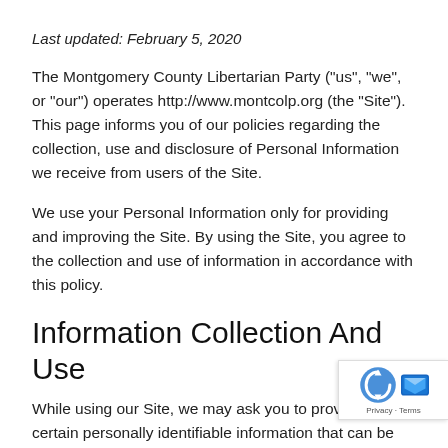Last updated: February 5, 2020
The Montgomery County Libertarian Party ("us", "we", or "our") operates http://www.montcolp.org (the "Site"). This page informs you of our policies regarding the collection, use and disclosure of Personal Information we receive from users of the Site.
We use your Personal Information only for providing and improving the Site. By using the Site, you agree to the collection and use of information in accordance with this policy.
Information Collection And Use
While using our Site, we may ask you to provide us with certain personally identifiable information that can be used to contact or identify you. Personally identifiable information may include, but is not limited